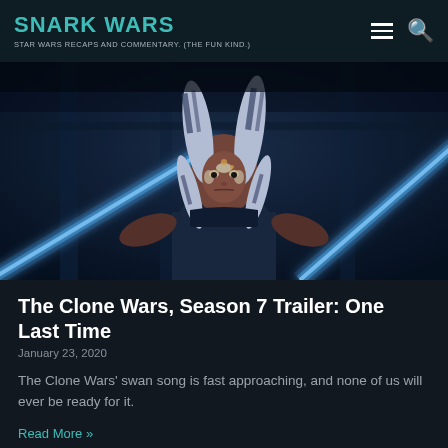SNARK WARS — STAR WARS RECAPS AND COMMENTARY. (THE FUN KIND.)
[Figure (illustration): Animated character Ahsoka Tano from The Clone Wars holding two blue lightsabers in a dark environment, looking determined. Blue lightsaber beams cross in front of her. Scene is dark and dramatic.]
The Clone Wars, Season 7 Trailer: One Last Time
January 23, 2020
The Clone Wars' swan song is fast approaching, and none of us will ever be ready for it.
Read More »